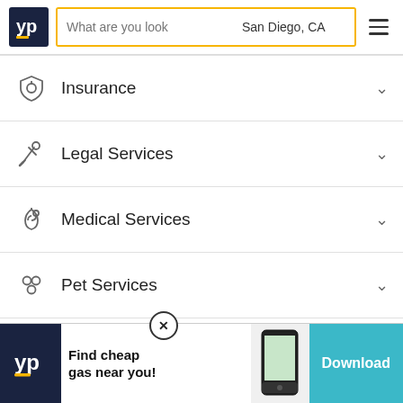[Figure (screenshot): YP (Yellow Pages) website header with logo, search bar showing 'What are you look' placeholder and 'San Diego, CA' location, yellow search button, and hamburger menu icon]
Insurance
Legal Services
Medical Services
Pet Services
Restaurants
About
Site D
[Figure (infographic): Ad banner: YP logo, 'Find cheap gas near you!', phone screenshot, Download button]